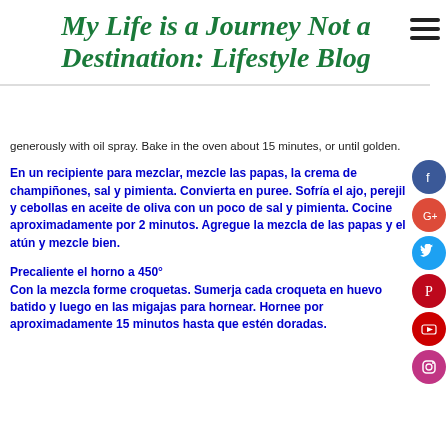My Life is a Journey Not a Destination: Lifestyle Blog
generously with oil spray. Bake in the oven about 15 minutes, or until golden.
En un recipiente para mezclar, mezcle las papas, la crema de champiñones, sal y pimienta. Convierta en puree. Sofría el ajo, perejil y cebollas en aceite de oliva con un poco de sal y pimienta. Cocine aproximadamente por 2 minutos. Agregue la mezcla de las papas y el atún y mezcle bien.
Precaliente el horno a 450°
Con la mezcla forme croquetas. Sumerja cada croqueta en huevo batido y luego en las migajas para hornear. Hornee por aproximadamente 15 minutos hasta que estén doradas.